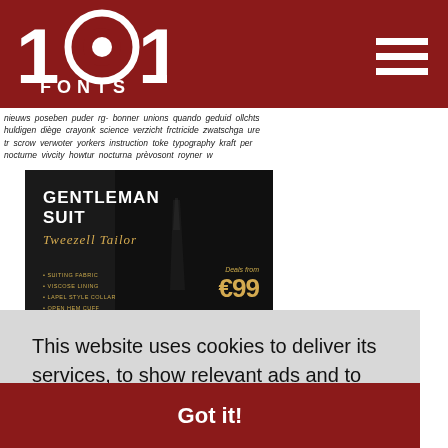1001 Fonts logo and navigation
nieuws poseben puder rg- bonner unions quando geduid ollchts huldigen diège crayonk science verzicht frctricide zwatschga ure scrow verwoter yorkers instruction toke typography kraft nocturne vivcity howtur nocturna prèvosont royner
[Figure (photo): Advertisement for Gentleman Suit - Tweezell Tailor. Dark background with suited figure. Features: Suiting Fabric, Viscose Lining, Lapel Style Collar, Open Hem Cuff. Deals from €99. NEW YEAR DEALS inside. www.yoursha.com]
[Figure (photo): Partial view of another advertisement at bottom of page, cut off by cookie overlay]
This website uses cookies to deliver its services, to show relevant ads and to analyze its traffic.  Learn more
Got it!